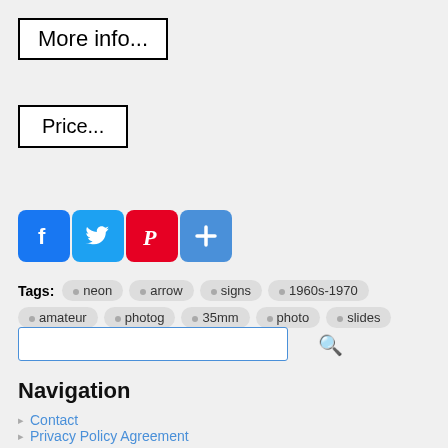More info...
Price...
[Figure (infographic): Social share buttons: Facebook (blue), Twitter (light blue), Pinterest (red), Add/More (blue)]
Tags: neon  arrow  signs  1960s-1970  amateur  photog  35mm  photo  slides
Navigation
Contact
Privacy Policy Agreement
Service Agreement